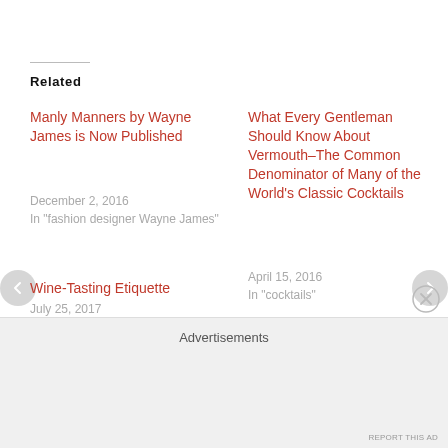Related
Manly Manners by Wayne James is Now Published
December 2, 2016
In "fashion designer Wayne James"
What Every Gentleman Should Know About Vermouth–The Common Denominator of Many of the World's Classic Cocktails
April 15, 2016
In "cocktails"
Wine-Tasting Etiquette
July 25, 2017
In "aspiration"
Advertisements
REPORT THIS AD